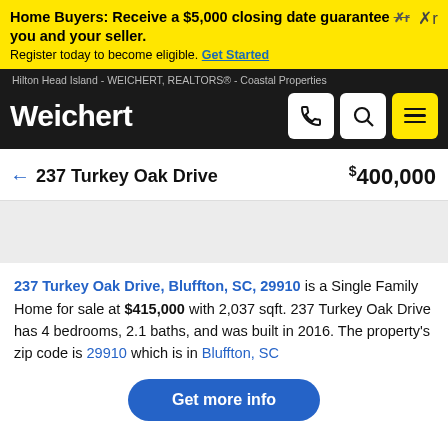Home Buyers: Receive a $5,000 closing date guarantee between you and your seller. Register today to become eligible. Get Started
Hilton Head Island - WEICHERT, REALTORS® - Coastal Properties
Weichert
← 237 Turkey Oak Drive  $400,000
237 Turkey Oak Drive, Bluffton, SC, 29910 is a Single Family Home for sale at $415,000 with 2,037 sqft. 237 Turkey Oak Drive has 4 bedrooms, 2.1 baths, and was built in 2016. The property's zip code is 29910 which is in Bluffton, SC
Get more info